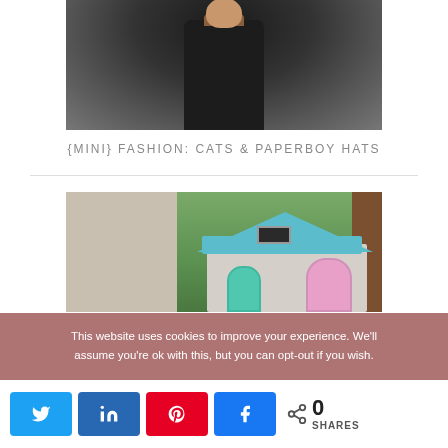[Figure (photo): Photo of a young girl wearing a dark navy/black coat with braided hair, standing outdoors with green grass and wooden fence in background]
{MINI} FASHION: CATS & PAPERBOY HATS
[Figure (photo): Photo of a colorful plastic children's playhouse with blue roof, pink arched door, teal circular door, and a window, outdoors with green background and wooden fence]
This website uses cookies to improve your experience. We'll assume you're ok with this, but you can opt-out if you wish.
0 SHARES